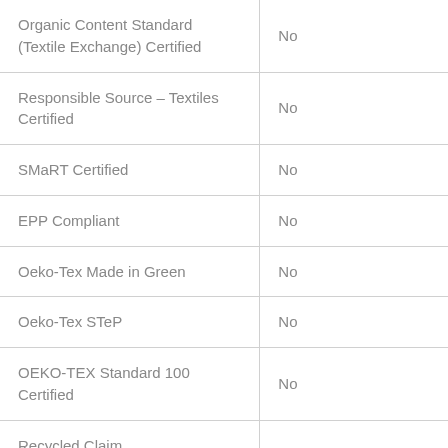|  |  |
| --- | --- |
| Organic Content Standard (Textile Exchange) Certified | No |
| Responsible Source – Textiles Certified | No |
| SMaRT Certified | No |
| EPP Compliant | No |
| Oeko-Tex Made in Green | No |
| Oeko-Tex STeP | No |
| OEKO-TEX Standard 100 Certified | No |
| Recycled Claim |  |